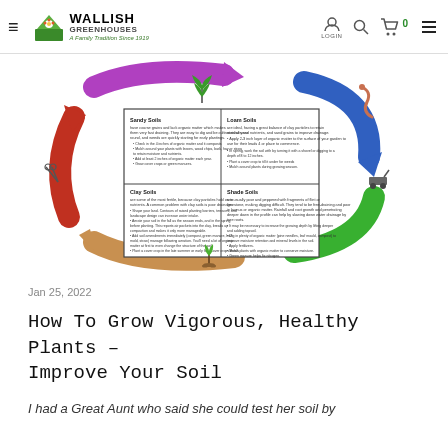Wallish Greenhouses – A Family Tradition Since 1919
[Figure (infographic): Circular infographic diagram showing four soil types (Sandy Soils, Loam Soils, Clay Soils, Shade Soils) arranged in a 2x2 grid in the center, surrounded by large colorful circular arrows (purple, blue, green, tan/orange, red) representing a cycle. Decorative icons of a plant, a worm, and a lawn mower are placed around the arrows.]
Jan 25, 2022
How To Grow Vigorous, Healthy Plants – Improve Your Soil
I had a Great Aunt who said she could test her soil by